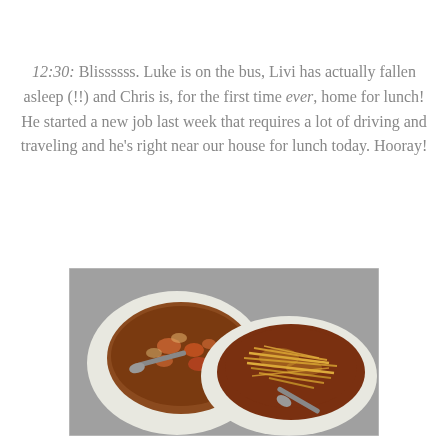12:30: Blissssss.  Luke is on the bus, Livi has actually fallen asleep (!!) and Chris is, for the first time ever, home for lunch!  He started a new job last week that requires a lot of driving and traveling and he's right near our house for lunch today.  Hooray!
[Figure (photo): Two white bowls of soup on a gray surface. The left bowl contains vegetable/lentil soup with a spoon. The right bowl contains soup topped with shredded cheese and a spoon.]